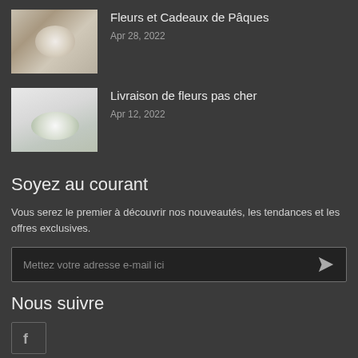[Figure (photo): Thumbnail photo of Easter flower arrangement with white flowers in a basket]
Fleurs et Cadeaux de Pâques
Apr 28, 2022
[Figure (photo): Thumbnail photo of white flower bouquet arrangement on a windowsill]
Livraison de fleurs pas cher
Apr 12, 2022
Soyez au courant
Vous serez le premier à découvrir nos nouveautés, les tendances et les offres exclusives.
Mettez votre adresse e-mail ici
Nous suivre